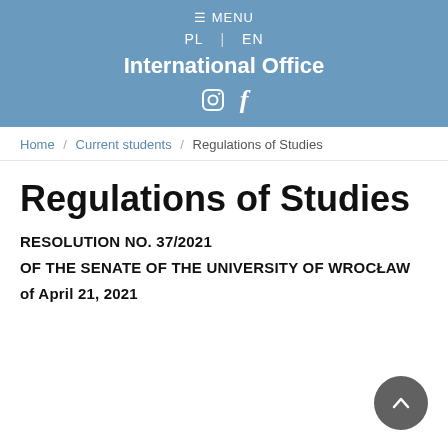≡ MENU | PL | EN | International Office
Home / Current students / Regulations of Studies
Regulations of Studies
RESOLUTION NO. 37/2021
OF THE SENATE OF THE UNIVERSITY OF WROCŁAW
of April 21, 2021